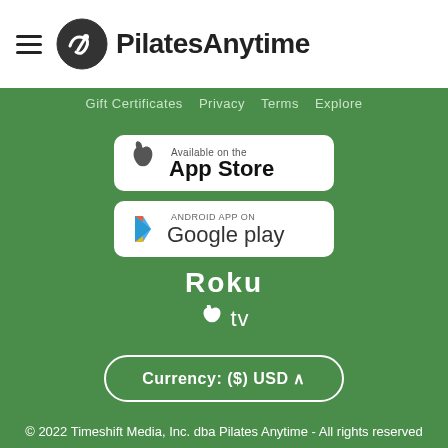[Figure (logo): PilatesAnytime logo with hamburger menu icon and circular checkmark logo]
Gift Certificates  Privacy  Terms  Explore
[Figure (logo): Available on the App Store badge]
[Figure (logo): Android app on Google play badge]
[Figure (logo): Roku logo in white text]
[Figure (logo): Apple TV logo with apple icon and tv text]
Currency: ($) USD ^
© 2022 Timeshift Media, Inc. dba Pilates Anytime - All rights reserved